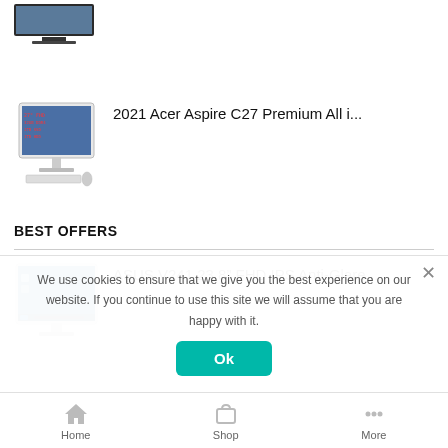[Figure (photo): Monitor product image (partial, top cropped)]
[Figure (photo): 2021 Acer Aspire C27 All-in-One computer product image]
2021 Acer Aspire C27 Premium All i...
BEST OFFERS
[Figure (photo): ASUS V241 23.8 FHD IPS All-in-One computer product image with Windows 10 desktop]
ASUS V241 23.8" FHD IPS Anti-Glare...
We use cookies to ensure that we give you the best experience on our website. If you continue to use this site we will assume that you are happy with it.
Home  Shop  More